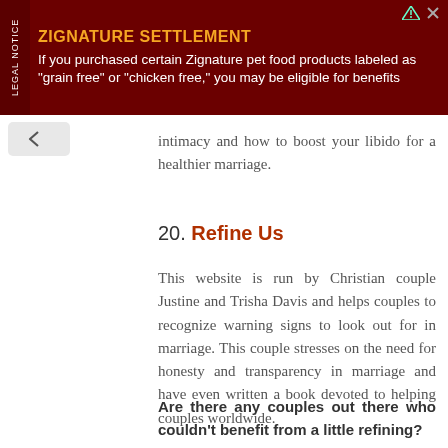[Figure (infographic): Advertisement banner for Zignature Settlement with dark red background, legal notice side label, bold orange title 'ZIGNATURE SETTLEMENT', white body text about purchasing pet food products, and small icons in top right corner.]
intimacy and how to boost your libido for a healthier marriage.
20. Refine Us
This website is run by Christian couple Justine and Trisha Davis and helps couples to recognize warning signs to look out for in marriage. This couple stresses on the need for honesty and transparency in marriage and have even written a book devoted to helping couples worldwide.
Are there any couples out there who couldn't benefit from a little refining? Couples can first read through f